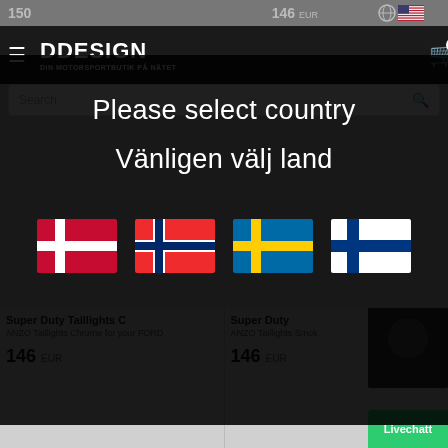[Figure (screenshot): DDesign motorsport webshop with country selection modal overlay showing Danish, Norwegian, Swedish and Finnish flags]
Please select country
Vänligen välj land
Super Duty Taillights C
ANZO Taillights Chrome for your FORD
146 EUR
Super Duty
ANZO Taillights Smok
146 EUR
Livechatt